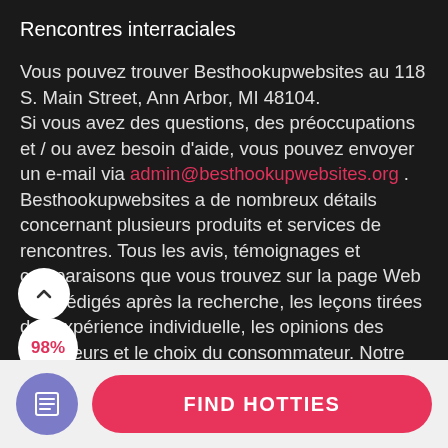Rencontres interraciales
Vous pouvez trouver Besthookupwebsites au 118 S. Main Street, Ann Arbor, MI 48104.
Si vous avez des questions, des préoccupations et / ou avez besoin d'aide, vous pouvez envoyer un e-mail via admin@besthookupwebsites.org .
Besthookupwebsites a de nombreux détails concernant plusieurs produits et services de rencontres. Tous les avis, témoignages et comparaisons que vous trouvez sur la page Web sont rédigés après la recherche, les leçons tirées de l'expérience individuelle, les opinions des utilisateurs et le choix du consommateur. Notre société a
[Figure (other): Scroll-up chevron button (white circle with upward arrow)]
[Figure (other): Score badge showing 98% in red text on white circle]
[Figure (other): Bottom navigation bar with purple icon button and pink FIND HOTTIES button]